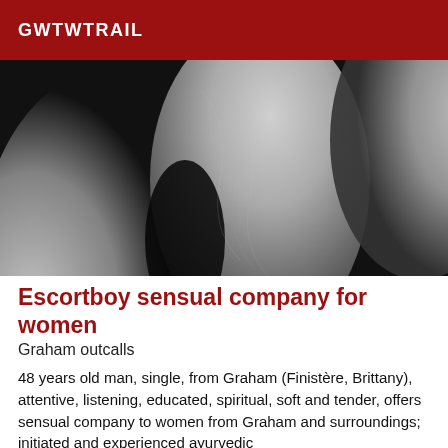GWTWTRAIL
[Figure (photo): Black and white close-up photograph of human body, showing skin texture — appears to be arms or torso in an intimate pose.]
Escortboy sensual company for women
Graham outcalls
48 years old man, single, from Graham (Finistère, Brittany), attentive, listening, educated, spiritual, soft and tender, offers sensual company to women from Graham and surroundings; initiated and experienced ayurvedic